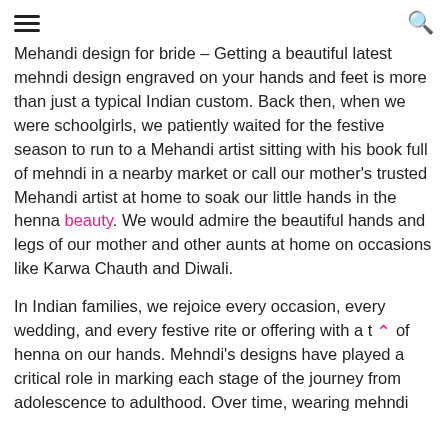[hamburger menu icon] [search icon]
Mehandi design for bride – Getting a beautiful latest mehndi design engraved on your hands and feet is more than just a typical Indian custom. Back then, when we were schoolgirls, we patiently waited for the festive season to run to a Mehandi artist sitting with his book full of mehndi in a nearby market or call our mother's trusted Mehandi artist at home to soak our little hands in the henna beauty. We would admire the beautiful hands and legs of our mother and other aunts at home on occasions like Karwa Chauth and Diwali.
In Indian families, we rejoice every occasion, every wedding, and every festive rite or offering with a t [scroll-to-top button] of henna on our hands. Mehndi's designs have played a critical role in marking each stage of the journey from adolescence to adulthood. Over time, wearing mehndi